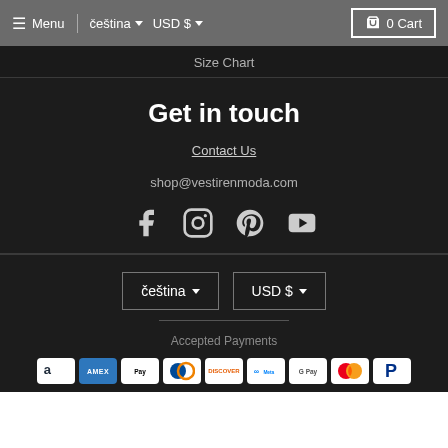Menu | čeština ▾ USD $ ▾ | 0 Cart
Size Chart
Get in touch
Contact Us
shop@vestirenmoda.com
[Figure (other): Social media icons: Facebook, Instagram, Pinterest, YouTube]
čeština ▾   USD $ ▾
Accepted Payments
[Figure (other): Payment method icons: Amazon, Amex, Apple Pay, Diners Club, Discover, Meta Pay, Google Pay, Mastercard, PayPal]